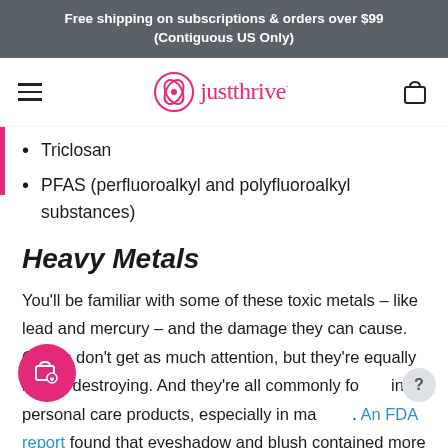Free shipping on subscriptions & orders over $99 (Contiguous US Only)
[Figure (logo): Just Thrive logo with navigation bar, hamburger menu on left and shopping cart icon on right]
Triclosan
PFAS (perfluoroalkyl and polyfluoroalkyl substances)
Heavy Metals
You'll be familiar with some of these toxic metals – like lead and mercury – and the damage they can cause. Others don't get as much attention, but they're equally health-destroying. And they're all commonly found in personal care products, especially in makeup. An FDA report found that eyeshadow and blush contained more heavy metals than other